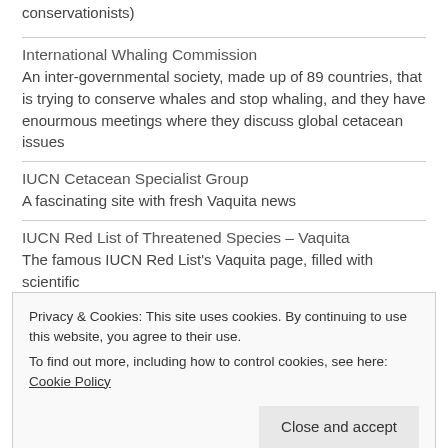conservationists)
International Whaling Commission
An inter-governmental society, made up of 89 countries, that is trying to conserve whales and stop whaling, and they have enourmous meetings where they discuss global cetacean issues
IUCN Cetacean Specialist Group
A fascinating site with fresh Vaquita news
IUCN Red List of Threatened Species – Vaquita
The famous IUCN Red List's Vaquita page, filled with scientific
Privacy & Cookies: This site uses cookies. By continuing to use this website, you agree to their use.
To find out more, including how to control cookies, see here: Cookie Policy